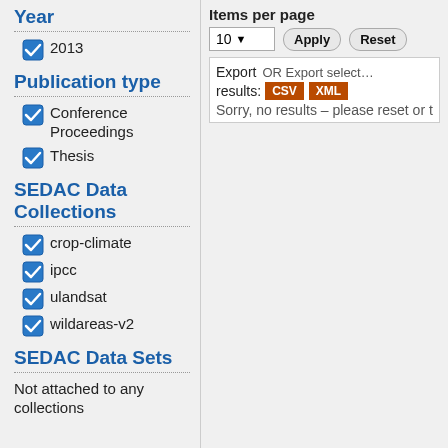Year
2013
Publication type
Conference Proceedings
Thesis
SEDAC Data Collections
crop-climate
ipcc
ulandsat
wildareas-v2
SEDAC Data Sets
Not attached to any collections
Items per page
10 ▼  Apply  Reset
Export results:  OR Export selected citations u...  CSV  XML
Sorry, no results – please reset or try a diffe...